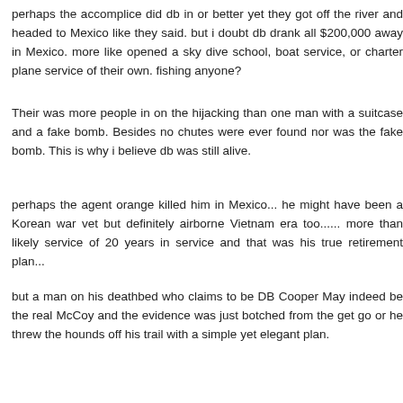perhaps the accomplice did db in or better yet they got off the river and headed to Mexico like they said. but i doubt db drank all $200,000 away in Mexico. more like opened a sky dive school, boat service, or charter plane service of their own. fishing anyone?
Their was more people in on the hijacking than one man with a suitcase and a fake bomb. Besides no chutes were ever found nor was the fake bomb. This is why i believe db was still alive.
perhaps the agent orange killed him in Mexico... he might have been a Korean war vet but definitely airborne Vietnam era too...... more than likely service of 20 years in service and that was his true retirement plan...
but a man on his deathbed who claims to be DB Cooper May indeed be the real McCoy and the evidence was just botched from the get go or he threw the hounds off his trail with a simple yet elegant plan.